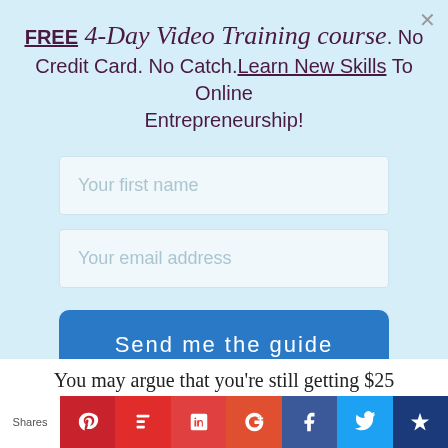FREE 4-Day Video Training course. No Credit Card. No Catch. Learn New Skills To Online Entrepreneurship!
[Figure (screenshot): Web form with two input fields: 'Your first name' and 'Your email address', and a blue 'Send me the guide' button on a light blue background]
You may argue that you're still getting $25
[Figure (infographic): Social sharing bar with icons for Pinterest, Flipboard, LinkedIn, Google+, Facebook, Twitter, and a crown icon, with a 'Shares' label]